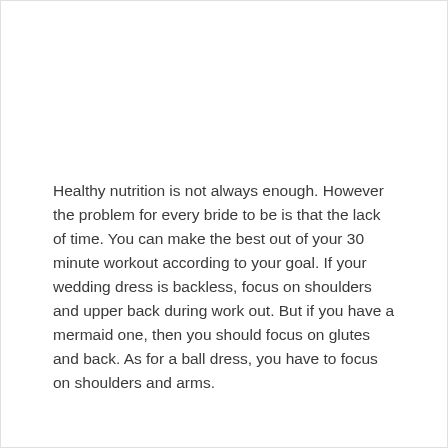Healthy nutrition is not always enough. However the problem for every bride to be is that the lack of time. You can make the best out of your 30 minute workout according to your goal. If your wedding dress is backless, focus on shoulders and upper back during work out. But if you have a mermaid one, then you should focus on glutes and back. As for a ball dress, you have to focus on shoulders and arms.